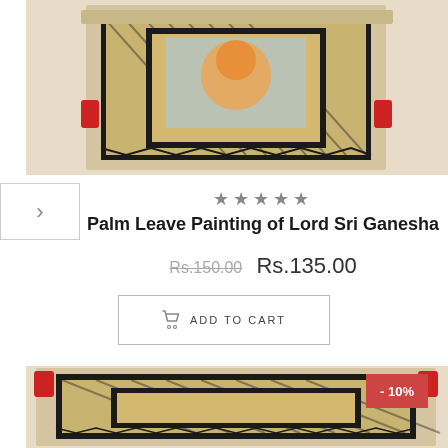[Figure (photo): Palm leaf painting of Lord Sri Ganesha in a decorative wooden frame with red accents, shown from above. The frame has diagonal striped pattern in gold/black.]
★★★★★
Palm Leave Painting of Lord Sri Ganesha
Rs.150.00  Rs.135.00
ADD TO CART
[Figure (photo): Bottom portion of a second palm leaf painting product in decorative frame, showing -10% discount badge in red.]